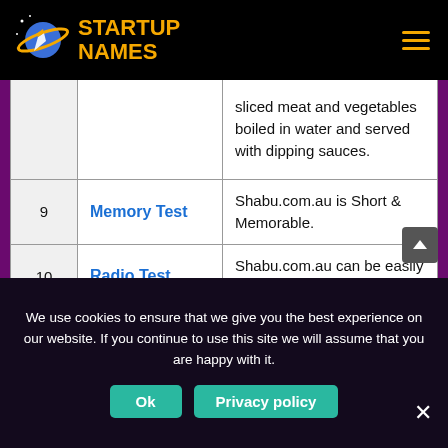STARTUP NAMES
| # | Test | Description |
| --- | --- | --- |
|  |  | sliced meat and vegetables boiled in water and served with dipping sauces. |
| 9 | Memory Test | Shabu.com.au is Short & Memorable. |
| 10 | Radio Test | Shabu.com.au can be easily Pronounced. |
We use cookies to ensure that we give you the best experience on our website. If you continue to use this site we will assume that you are happy with it.